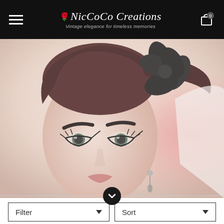NicCoCo Creations — Vintage elegance for timeless memories
[Figure (photo): Close-up portrait of a vintage-styled woman with dramatic cat-eye makeup, dark eyebrows, an upswept dark red hairstyle, a large black flower hair accessory, and a dangling earring. The image has a soft, faded, high-key look with pinkish tones on the right side.]
Filter
Sort